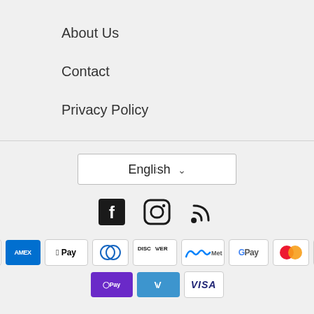About Us
Contact
Privacy Policy
[Figure (other): Language selector dropdown showing 'English' with a chevron arrow, and social media icons for Facebook, Instagram, and RSS feed, plus payment method icons: Amazon, Amex, Apple Pay, Diners Club, Discover, Meta Pay, Google Pay, Mastercard, PayPal, Shop Pay, Venmo, Visa]